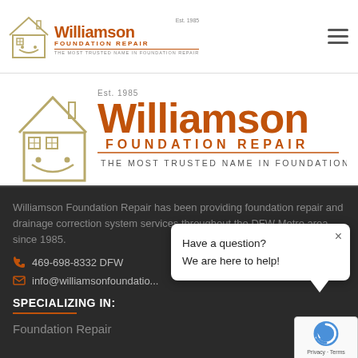[Figure (logo): Williamson Foundation Repair logo - small version in top navigation bar. House outline with smiley face, Est. 1985 text, company name in brown/orange. THE MOST TRUSTED NAME IN FOUNDATION REPAIR tagline.]
[Figure (logo): Williamson Foundation Repair logo - large hero banner version. House outline with smiley face, company name in large brown/orange letters, FOUNDATION REPAIR subtitle, THE MOST TRUSTED NAME IN FOUNDATION REPAIR tagline.]
Williamson Foundation Repair has been providing foundation repair and drainage correction system services throughout the DFW Metro area since 1985.
469-698-8332 DFW
info@williamsonfoundatio...
SPECIALIZING IN:
Foundation Repair
[Figure (screenshot): Chat popup widget: 'Have a question? We are here to help!' with close X button]
[Figure (logo): Google reCAPTCHA badge - Privacy - Terms]